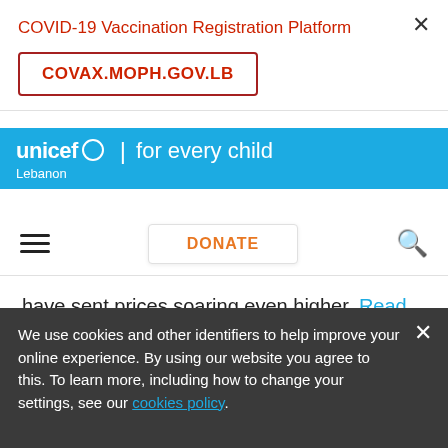COVID-19 Vaccination Registration Platform
COVAX.MOPH.GOV.LB
unicef for every child | Lebanon
DONATE
have sent prices soaring even higher. Read the full report here.
We use cookies and other identifiers to help improve your online experience. By using our website you agree to this. To learn more, including how to change your settings, see our cookies policy.